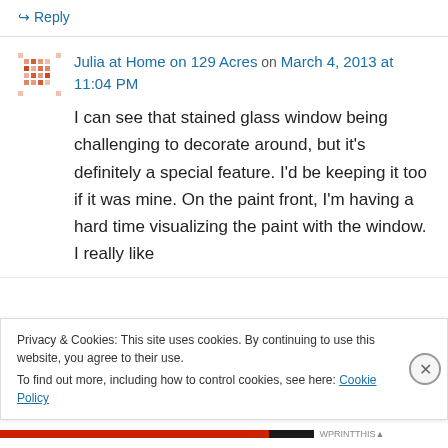↪ Reply
Julia at Home on 129 Acres on March 4, 2013 at 11:04 PM
I can see that stained glass window being challenging to decorate around, but it's definitely a special feature. I'd be keeping it too if it was mine. On the paint front, I'm having a hard time visualizing the paint with the window. I really like
Privacy & Cookies: This site uses cookies. By continuing to use this website, you agree to their use.
To find out more, including how to control cookies, see here: Cookie Policy